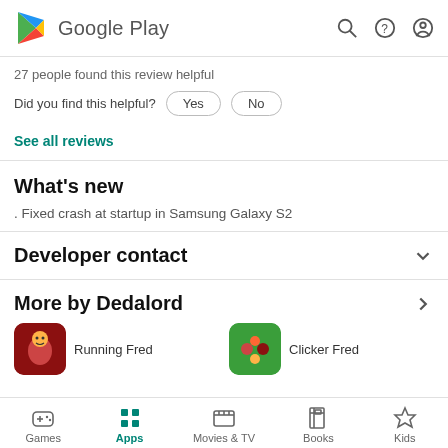Google Play
27 people found this review helpful
Did you find this helpful? Yes No
See all reviews
What's new
. Fixed crash at startup in Samsung Galaxy S2
Developer contact
More by Dedalord
Running Fred   Clicker Fred
Games  Apps  Movies & TV  Books  Kids